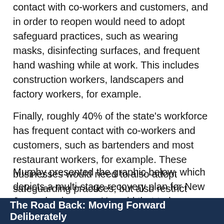contact with co-workers and customers, and in order to reopen would need to adopt safeguard practices, such as wearing masks, disinfecting surfaces, and frequent hand washing while at work. This includes construction workers, landscapers and factory workers, for example.
Finally, roughly 40% of the state's workforce has frequent contact with co-workers and customers, such as bartenders and most restaurant workers, for example. These businesses would need to also adopt safeguarding practices, but also restrict capacity and reduce density, as well as re-train displaced workforces.
Murphy presented the graphic below, which depicts a multi-stage recovery plan for New Jersey businesses. He said that today, we are "comfortably in the midst of stage one."
The Road Back: Moving Forward Deliberately